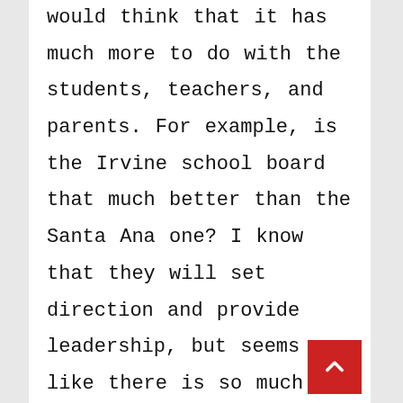would think that it has much more to do with the students, teachers, and parents. For example, is the Irvine school board that much better than the Santa Ana one? I know that they will set direction and provide leadership, but seems like there is so much more to it. Would the Irvine Board get the results they get if you swapped the students, teachers, and parents and